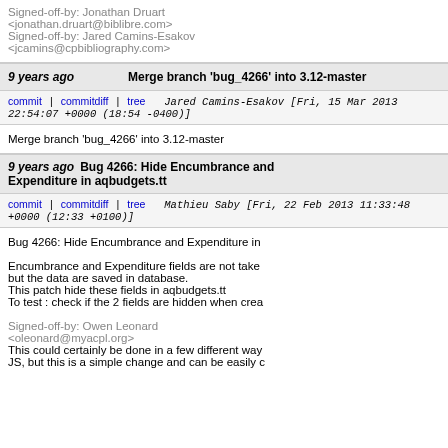Signed-off-by: Jonathan Druart <jonathan.druart@biblibre.com>
Signed-off-by: Jared Camins-Esakov <jcamins@cpbibliography.com>
9 years ago   Merge branch 'bug_4266' into 3.12-master
commit | commitdiff | tree   Jared Camins-Esakov [Fri, 15 Mar 2013 22:54:07 +0000 (18:54 -0400)]
Merge branch 'bug_4266' into 3.12-master
9 years ago   Bug 4266: Hide Encumbrance and Expenditure in aqbudgets.tt
commit | commitdiff | tree   Mathieu Saby [Fri, 22 Feb 2013 11:33:48 +0000 (12:33 +0100)]
Bug 4266: Hide Encumbrance and Expenditure in

Encumbrance and Expenditure fields are not taken
but the data are saved in database.
This patch hide these fields in aqbudgets.tt
To test : check if the 2 fields are hidden when crea

Signed-off-by: Owen Leonard <oleonard@myacpl.org>
This could certainly be done in a few different way
JS, but this is a simple change and can be easily c